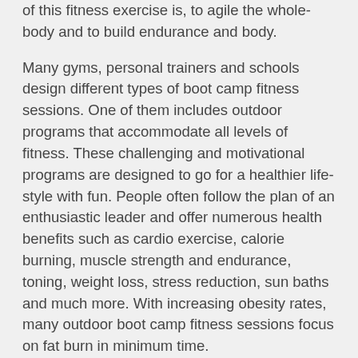of this fitness exercise is, to agile the whole-body and to build endurance and body.
Many gyms, personal trainers and schools design different types of boot camp fitness sessions. One of them includes outdoor programs that accommodate all levels of fitness. These challenging and motivational programs are designed to go for a healthier life-style with fun. People often follow the plan of an enthusiastic leader and offer numerous health benefits such as cardio exercise, calorie burning, muscle strength and endurance, toning, weight loss, stress reduction, sun baths and much more. With increasing obesity rates, many outdoor boot camp fitness sessions focus on fat burn in minimum time.
Indoor boot camp fitness sessions also include